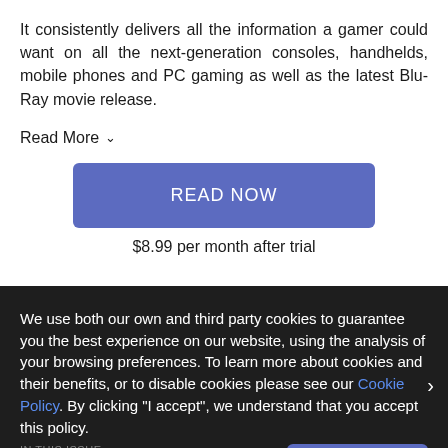It consistently delivers all the information a gamer could want on all the next-generation consoles, handhelds, mobile phones and PC gaming as well as the latest Blu-Ray movie release.
Read More
READ NOW
$8.99 per month after trial
We use both our own and third party cookies to guarantee you the best experience on our website, using the analysis of your browsing preferences. To learn more about cookies and their benefits, or to disable cookies please see our Cookie Policy. By clicking "I accept", we understand that you accept this policy.
IN THIS ISSUE
Editor
I ACCEPT